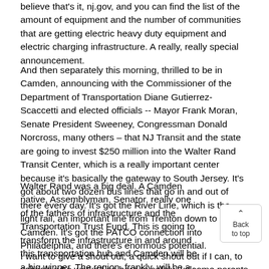believe that's it, nj.gov, and you can find the list of the amount of equipment and the number of communities that are getting electric heavy duty equipment and electric charging infrastructure. A really, really special announcement.
And then separately this morning, thrilled to be in Camden, announcing with the Commissioner of the Department of Transportation Diane Gutierrez-Scaccetti and elected officials -- Mayor Frank Moran, Senate President Sweeney, Congressman Donald Norcross, many others – that NJ Transit and the state are going to invest $250 million into the Walter Rand Transit Center, which is a really important center because it's basically the gateway to South Jersey. It's got about two dozen bus lines that go in and out of there every day. It's got the River Line, which is the light rail, an important line from Trenton down to Camden. It's got the PATCO connection into Philadelphia, and there's enormous potential.
Walter Rand was a big deal. A Camden native, Assemblyman, Senator, really one of the fathers of infrastructure and the Transportation Trust Fund. This is going to transform the infrastructure in and around this transportation hub and Camden will be a big winner. The region, frankly, will be a big winner. So I just want to get those thoughts off my chest.
I want to give a shout out, a quick shout out if I can, to schools who worked so hard to safely welcome parents back